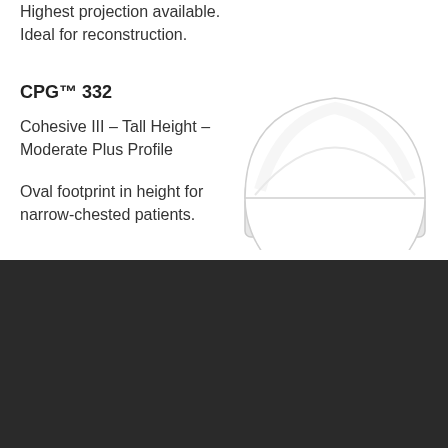Highest projection available. Ideal for reconstruction.
CPG™ 332
Cohesive III – Tall Height – Moderate Plus Profile
Oval footprint in height for narrow-chested patients.
[Figure (photo): White breast implant with oval footprint, moderate plus profile view]
Cookies
By using this website, you automatically accept that we use cookies. What for?
I Accept